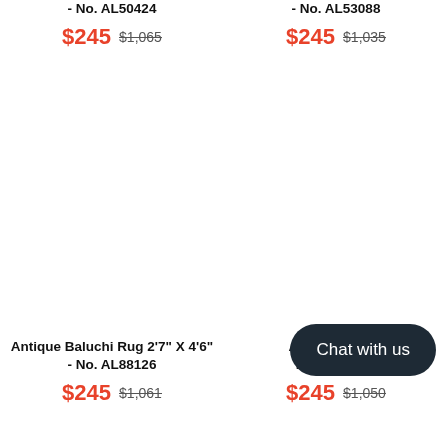- No. AL50424
$245 $1,065
- No. AL53088
$245 $1,035
Antique Baluchi Rug 2'7" X 4'6" - No. AL88126
$245 $1,061
Antique [partially hidden] - No. AL35832
$245 $1,050
Chat with us